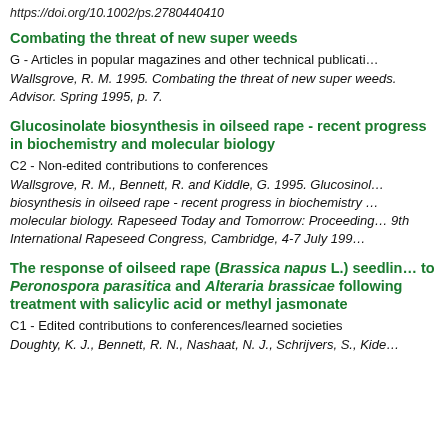https://doi.org/10.1002/ps.2780440410
Combating the threat of new super weeds
G - Articles in popular magazines and other technical publications
Wallsgrove, R. M. 1995. Combating the threat of new super weeds. Advisor. Spring 1995, p. 7.
Glucosinolate biosynthesis in oilseed rape - recent progress in biochemistry and molecular biology
C2 - Non-edited contributions to conferences
Wallsgrove, R. M., Bennett, R. and Kiddle, G. 1995. Glucosinolate biosynthesis in oilseed rape - recent progress in biochemistry and molecular biology. Rapeseed Today and Tomorrow: Proceedings 9th International Rapeseed Congress, Cambridge, 4-7 July 1995.
The response of oilseed rape (Brassica napus L.) seedlings to Peronospora parasitica and Alteraria brassicae following treatment with salicylic acid or methyl jasmonate
C1 - Edited contributions to conferences/learned societies
Doughty, K. J., Bennett, R. N., Nashaat, N. J., Schrijvers, S., Kiddle...